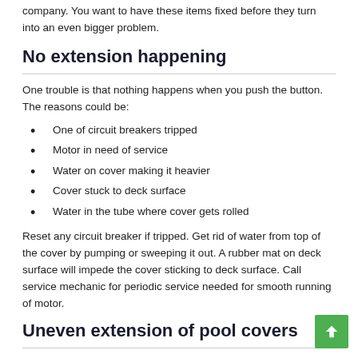company. You want to have these items fixed before they turn into an even bigger problem.
No extension happening
One trouble is that nothing happens when you push the button. The reasons could be:
One of circuit breakers tripped
Motor in need of service
Water on cover making it heavier
Cover stuck to deck surface
Water in the tube where cover gets rolled
Reset any circuit breaker if tripped. Get rid of water from top of the cover by pumping or sweeping it out. A rubber mat on deck surface will impede the cover sticking to deck surface. Call service mechanic for periodic service needed for smooth running of motor.
Uneven extension of pool covers
Both ends of automatic pool covers do not extend evenly, uniformly or in tandem and that each end is called with different changes. Power could be...